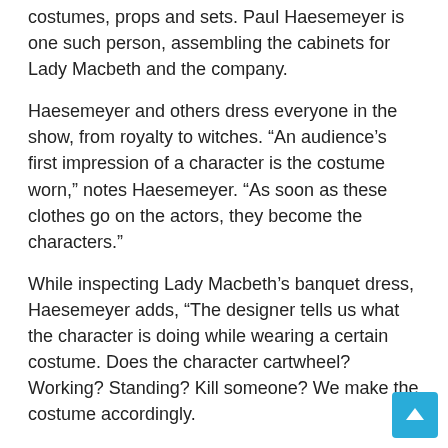costumes, props and sets. Paul Haesemeyer is one such person, assembling the cabinets for Lady Macbeth and the company.
Haesemeyer and others dress everyone in the show, from royalty to witches. “An audience’s first impression of a character is the costume worn,” notes Haesemeyer. “As soon as these clothes go on the actors, they become the characters.”
While inspecting Lady Macbeth’s banquet dress, Haesemeyer adds, “The designer tells us what the character is doing while wearing a certain costume. Does the character cartwheel? Working? Standing? Kill someone? We make the costume accordingly.
Showing Lady Macbeth’s dress, he adds: “She will only wear this for a short banquet scene. But it is a glorious scene!
Haesemeyer and company consider both the clothing designers and the actors wearing the garment. “This dress is gorgeous,” actress Meghan Andrews says, referring to the banquet dress. “It just lights up the scene.”